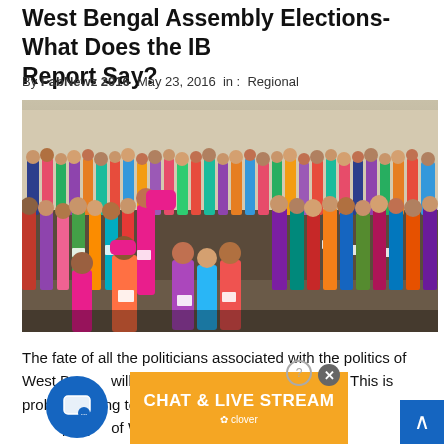West Bengal Assembly Elections- What Does the IB Report Say?
By FabNewz 2016  May 23, 2016  in :  Regional
[Figure (photo): Large crowd of voters standing in a long queue outside a polling station in West Bengal, many holding voter ID cards, with both men and women in colorful traditional attire.]
The fate of all the politicians associated with the politics of West Bengal will be sealed on 19th of May 2016. This is probably going to be one of the most important events in the life of people of West Bengal people